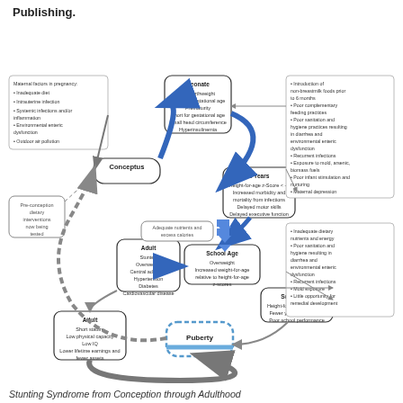Publishing.
[Figure (flowchart): Circular lifecycle diagram titled 'Stunting Syndrome from Conception through Adulthood' showing the cycle of stunting across life stages: Conceptus, Neonate, 2 Years, School Age (two nodes), Puberty, Adult (two nodes), and back to Conceptus. Blue arrows show a pathway with adequate nutrients/excess calories leading to overweight outcomes. Gray arrows show the stunting pathway. Surrounding boxes describe maternal factors, environmental risk factors, and outcomes at each stage. A dashed gray arrow indicates intergenerational transmission. A box for 'Pre-conception dietary interventions now being tested' is shown with a dashed arrow.]
Stunting Syndrome from Conception through Adulthood